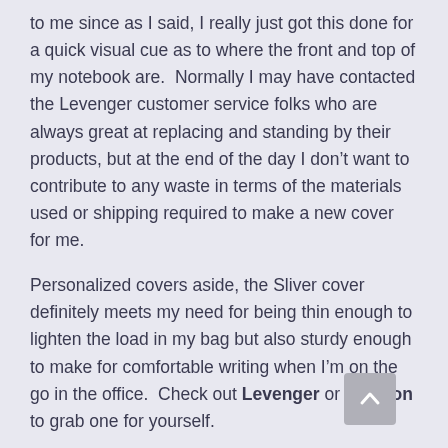to me since as I said, I really just got this done for a quick visual cue as to where the front and top of my notebook are.  Normally I may have contacted the Levenger customer service folks who are always great at replacing and standing by their products, but at the end of the day I don't want to contribute to any waste in terms of the materials used or shipping required to make a new cover for me.
Personalized covers aside, the Sliver cover definitely meets my need for being thin enough to lighten the load in my bag but also sturdy enough to make for comfortable writing when I'm on the go in the office.  Check out Levenger or Amazon to grab one for yourself.
UPDATE:  Check out our update on how the